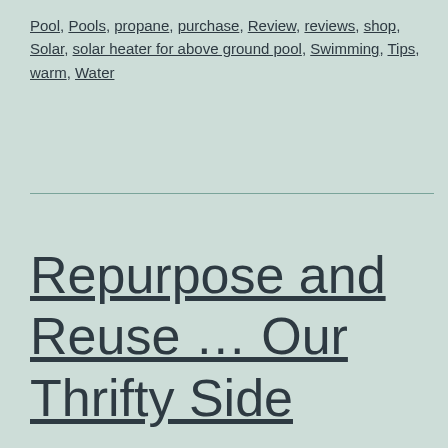Pool, Pools, propane, purchase, Review, reviews, shop, Solar, solar heater for above ground pool, Swimming, Tips, warm, Water
Repurpose and Reuse … Our Thrifty Side